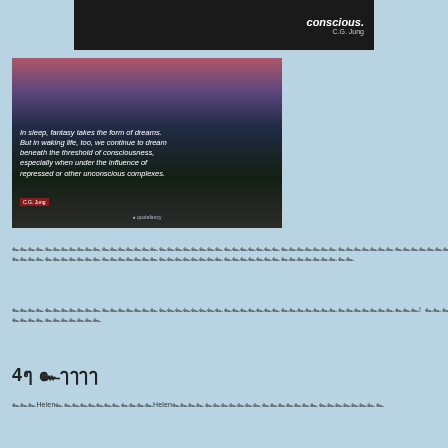[Figure (photo): Dark image with C.G. Jung quote 'conscious.' and attribution C.G. Jung, partially visible at top]
[Figure (photo): Landscape photo of rocky shoreline at sunset/dusk with purple and pink sky, overlaid with C.G. Jung quote about sleep and fantasy taking the form of dreams]
Thai-script body text paragraph 1
Thai-script body text paragraph 2 ending with exclamation mark
4ๆ ๛ๅๅๅๅ
Thai-script body text paragraph 3 mentioning Helen